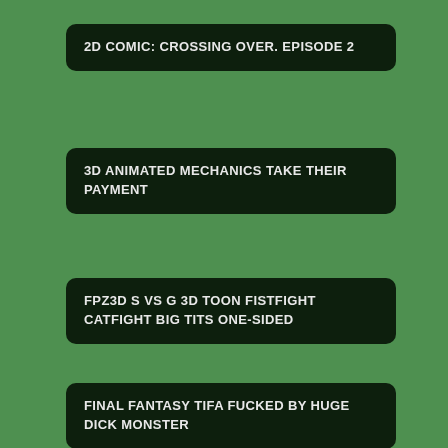2D COMIC: CROSSING OVER. EPISODE 2
3D ANIMATED MECHANICS TAKE THEIR PAYMENT
FPZ3D S VS G 3D TOON FISTFIGHT CATFIGHT BIG TITS ONE-SIDED
FINAL FANTASY TIFA FUCKED BY HUGE DICK MONSTER
LUNAR SHOWER 3D